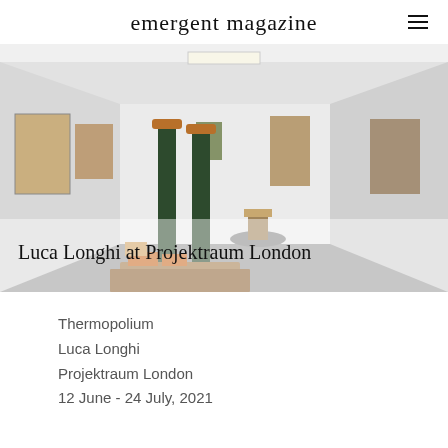emergent magazine
[Figure (photo): Gallery interior photograph showing a white-walled exhibition space with two tall dark green poles/columns rising from a base of objects and crates in the foreground, paintings hung on the walls, and more sculpture visible in the background. Title overlay reads 'Luca Longhi at Projektraum London'.]
Luca Longhi at Projektraum London
Thermopolium
Luca Longhi
Projektraum London
12 June - 24 July, 2021